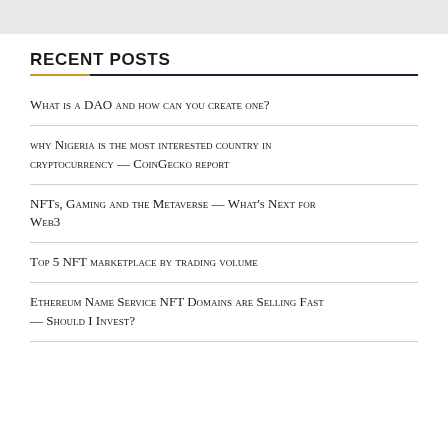RECENT POSTS
What is a DAO and how can you create one?
why Nigeria is the most interested country in cryptocurrency — CoinGecko report
NFTs, Gaming and the Metaverse — What's Next for Web3
Top 5 NFT marketplace by trading volume
Ethereum Name Service NFT Domains are Selling Fast — Should I Invest?